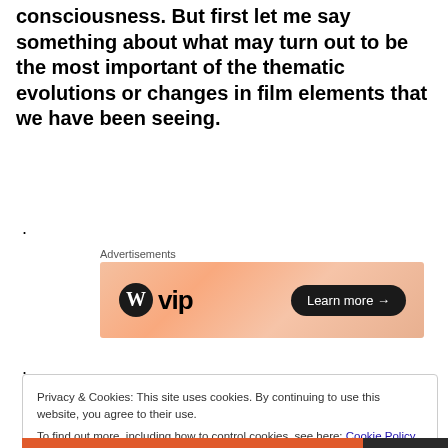consciousness. But first let me say something about what may turn out to be the most important of the thematic evolutions or changes in film elements that we have been seeing.
.
[Figure (screenshot): WordPress VIP advertisement banner with peach/orange gradient background, WordPress logo and 'vip' text on left, 'Learn more →' button on right]
.
Privacy & Cookies: This site uses cookies. By continuing to use this website, you agree to their use.
To find out more, including how to control cookies, see here: Cookie Policy